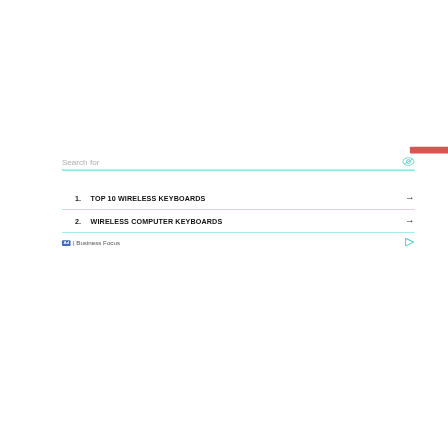Search for
1. TOP 10 WIRELESS KEYBOARDS →
2. WIRELESS COMPUTER KEYBOARDS →
Ad | Business Focus